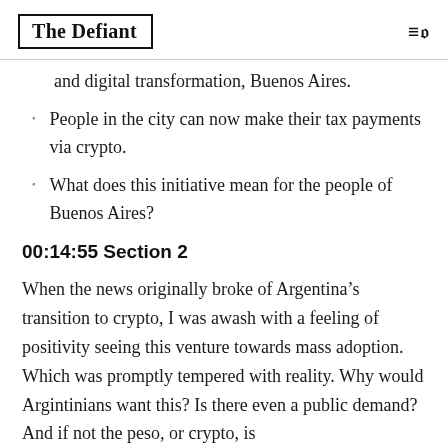The Defiant
and digital transformation, Buenos Aires.
People in the city can now make their tax payments via crypto.
What does this initiative mean for the people of Buenos Aires?
00:14:55 Section 2
When the news originally broke of Argentina's transition to crypto, I was awash with a feeling of positivity seeing this venture towards mass adoption. Which was promptly tempered with reality. Why would Argintinians want this? Is there even a public demand? And if not the peso, or crypto, is